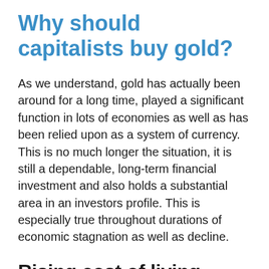Why should capitalists buy gold?
As we understand, gold has actually been around for a long time, played a significant function in lots of economies as well as has been relied upon as a system of currency. This is no much longer the situation, it is still a dependable, long-term financial investment and also holds a substantial area in an investors profile. This is especially true throughout durations of economic stagnation as well as decline.
Rising cost of living hedging
Over the last half a century, gold has performed better as a hedge against